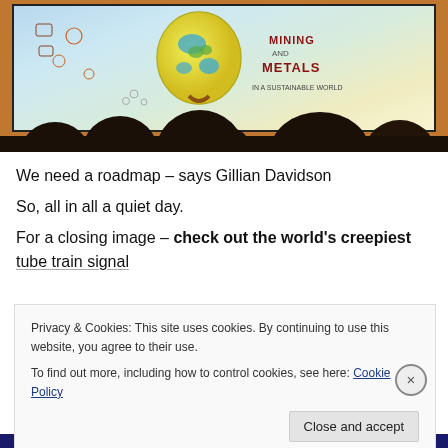[Figure (photo): Conference room with people seated at a table viewing a large projection screen displaying a colorful illustrated infographic about Mining and Metals in a Sustainable World.]
We need a roadmap – says Gillian Davidson
So, all in all a quiet day.
For a closing image – check out the world's creepiest tube train signal
Privacy & Cookies: This site uses cookies. By continuing to use this website, you agree to their use.
To find out more, including how to control cookies, see here: Cookie Policy
Close and accept